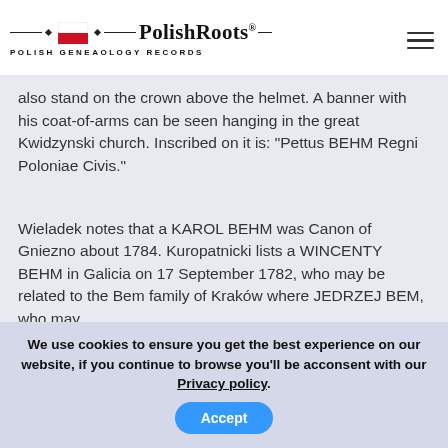[Figure (logo): PolishRoots logo with Polish flag icon, decorative lines and diamonds, bold serif text reading PolishRoots® and subtitle POLISH GENEAOLOGY RECORDS]
also stand on the crown above the helmet. A banner with his coat-of-arms can be seen hanging in the great Kwidzynski church. Inscribed on it is: "Pettus BEHM Regni Poloniae Civis."
Wieladek notes that a KAROL BEHM was Canon of Gniezno about 1784. Kuropatnicki lists a WINCENTY BEHM in Galicia on 17 September 1782, who may be related to the Bem family of Kraków where JEDRZEJ BEM, who may
We use cookies to ensure you get the best experience on our website, if you continue to browse you'll be acconsent with our Privacy policy.